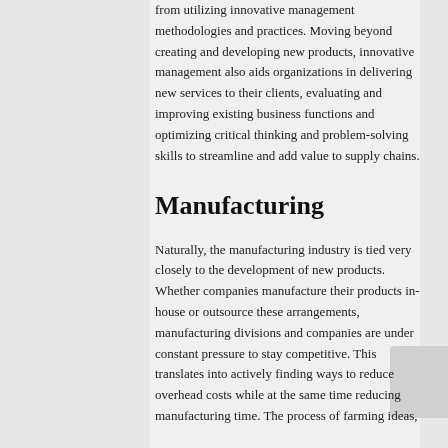from utilizing innovative management methodologies and practices. Moving beyond creating and developing new products, innovative management also aids organizations in delivering new services to their clients, evaluating and improving existing business functions and optimizing critical thinking and problem-solving skills to streamline and add value to supply chains.
Manufacturing
Naturally, the manufacturing industry is tied very closely to the development of new products. Whether companies manufacture their products in-house or outsource these arrangements, manufacturing divisions and companies are under constant pressure to stay competitive. This translates into actively finding ways to reduce overhead costs while at the same time reducing manufacturing time. The process of farming ideas,